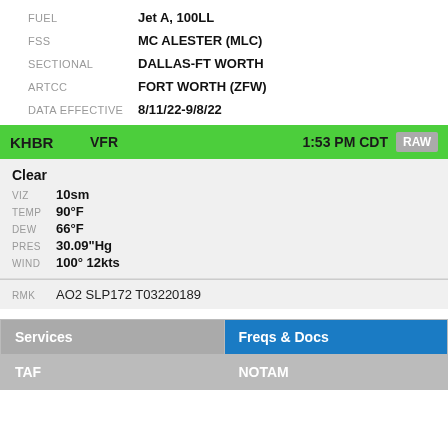FUEL: Jet A, 100LL
FSS: MC ALESTER (MLC)
SECTIONAL: DALLAS-FT WORTH
ARTCC: FORT WORTH (ZFW)
DATA EFFECTIVE: 8/11/22-9/8/22
KHBR VFR 1:53 PM CDT RAW
Clear
VIZ 10sm
TEMP 90°F
DEW 66°F
PRES 30.09"Hg
WIND 100° 12kts
RMK AO2 SLP172 T03220189
| Services | Freqs & Docs |
| --- | --- |
| TAF | NOTAM |